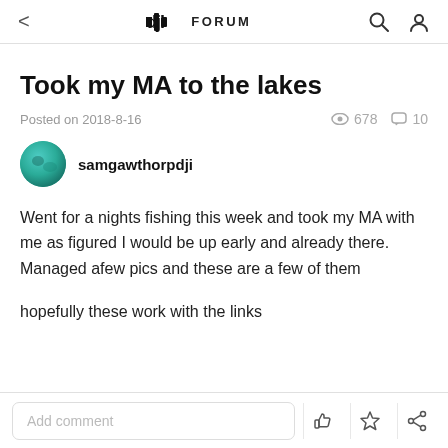DJI FORUM
Took my MA to the lakes
Posted on 2018-8-16   678   10
samgawthorpdji
Went for a nights fishing this week and took my MA with me as figured I would be up early and already there. Managed afew pics and these are a few of them

hopefully these work with the links
Add comment